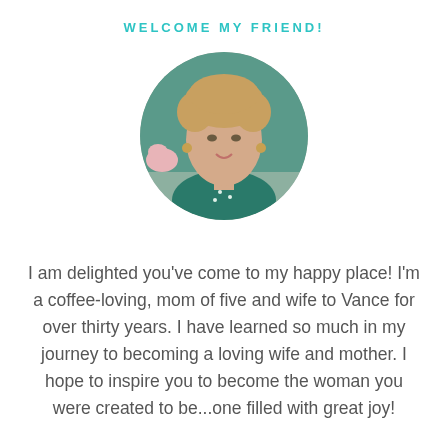WELCOME MY FRIEND!
[Figure (photo): Circular portrait photo of a smiling woman with curly blonde hair, wearing a teal top with white dots, earrings, standing against a teal wall with flowers visible.]
I am delighted you've come to my happy place! I'm a coffee-loving, mom of five and wife to Vance for over thirty years. I have learned so much in my journey to becoming a loving wife and mother. I hope to inspire you to become the woman you were created to be...one filled with great joy!